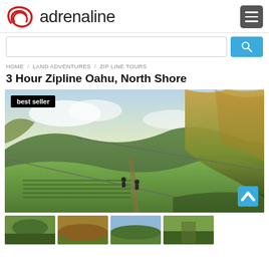[Figure (logo): Adrenaline logo with red swoosh icon and black sans-serif wordmark 'adrenaline', plus hamburger menu icon]
[Figure (screenshot): Search bar with text input and blue search button]
HOME / LAND ADVENTURES / ZIP LINE TOURS
3 Hour Zipline Oahu, North Shore
[Figure (photo): Aerial photo of zipline over lush green North Shore Oahu landscape with trees, fields, and blue sky. A 'best seller' badge overlays the top-left corner.]
[Figure (photo): Thumbnail images strip showing 4 partial thumbnail photos of the zipline experience]